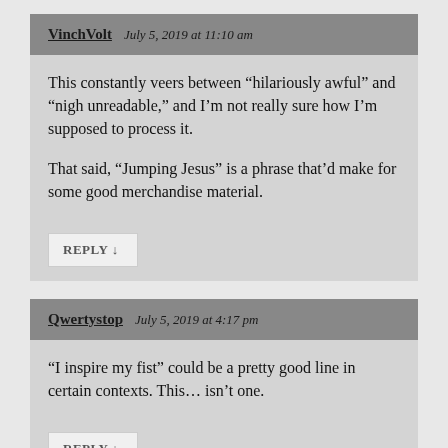VinchVolt   July 5, 2019 at 11:10 am
This constantly veers between “hilariously awful” and “nigh unreadable,” and I’m not really sure how I’m supposed to process it.

That said, “Jumping Jesus” is a phrase that’d make for some good merchandise material.
REPLY ↓
Qwertystop   July 5, 2019 at 4:17 pm
“I inspire my fist” could be a pretty good line in certain contexts. This… isn’t one.
REPLY ↓
BigKlingy   July 5, 2019 at 8:07 pm